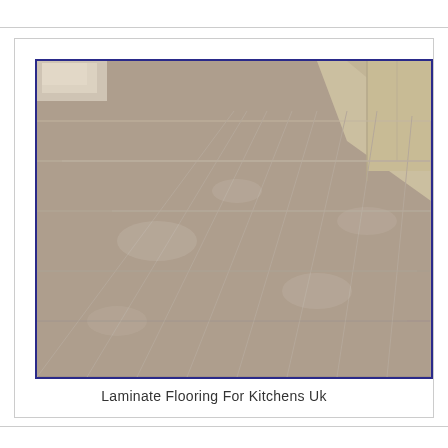[Figure (photo): A photograph of laminate flooring tiles in a kitchen setting. The tiles are beige/tan colored stone-look laminate arranged in a brick pattern. The floor is photographed from an angle showing perspective. Kitchen furniture/cabinets visible in the upper right corner.]
Laminate Flooring For Kitchens Uk